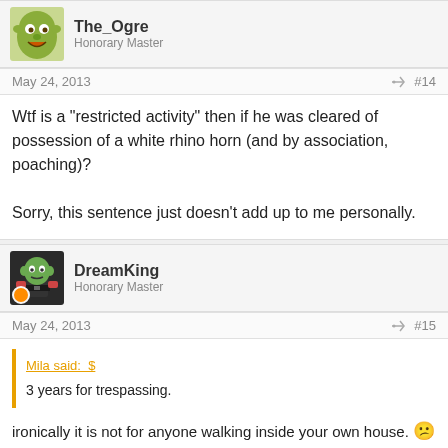The_Ogre
Honorary Master
May 24, 2013   #14
Wtf is a "restricted activity" then if he was cleared of possession of a white rhino horn (and by association, poaching)?

Sorry, this sentence just doesn't add up to me personally.
DreamKing
Honorary Master
May 24, 2013   #15
Mila said: [quote] 3 years for trespassing.
ironically it is not for anyone walking inside your own house. 🙁